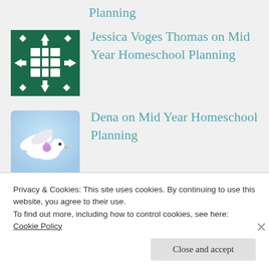Planning
[Figure (illustration): Green quilt pattern avatar icon]
Jessica Voges Thomas on Mid Year Homeschool Planning
[Figure (illustration): Dove flying illustration avatar]
Dena on Mid Year Homeschool Planning
[Figure (illustration): Green quilt pattern avatar icon]
Jessica Voges Thomas on Mid Year
Privacy & Cookies: This site uses cookies. By continuing to use this website, you agree to their use.
To find out more, including how to control cookies, see here: Cookie Policy